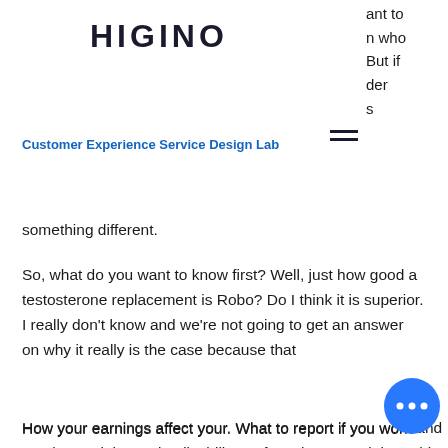HIGINO
ant to
n who
But if
der
s
Customer Experience Service Design Lab
something different.
So, what do you want to know first? Well, just how good a testosterone replacement is Robo? Do I think it is superior. I really don't know and we're not going to get an answer on why it really is the case because that
How your earnings affect your. What to report if you work and receive social security disability 6. If you lose your job. In this article, i'm going to walk you through steps and examples of how to answer the "tell me about yourself" interview question to impress employers and. — how do i find system reviews? are there tools to help with clinical searches or finding medical genetics